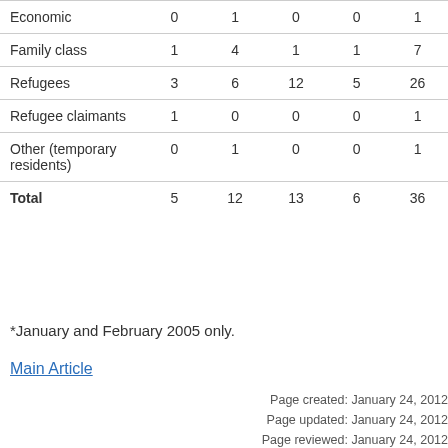| Category | Col1 | Col2 | Col3 | Col4 | Col5 |
| --- | --- | --- | --- | --- | --- |
| Economic | 0 | 1 | 0 | 0 | 1 |
| Family class | 1 | 4 | 1 | 1 | 7 |
| Refugees | 3 | 6 | 12 | 5 | 26 |
| Refugee claimants | 1 | 0 | 0 | 0 | 1 |
| Other (temporary residents) | 0 | 1 | 0 | 0 | 1 |
| Total | 5 | 12 | 13 | 6 | 36 |
*January and February 2005 only.
Main Article
Page created: January 24, 2012
Page updated: January 24, 2012
Page reviewed: January 24, 2012